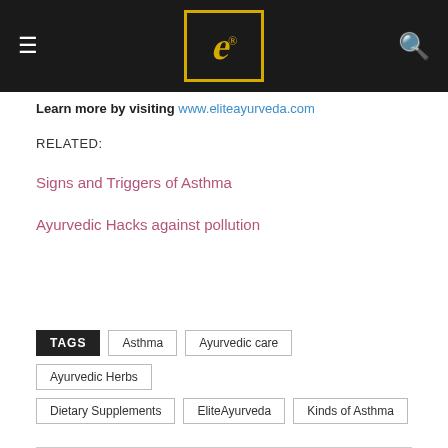EliteAyurveda header with logo, hamburger menu, and search icon
Learn more by visiting www.eliteayurveda.com
RELATED:
Signs and Triggers of Asthma
Ayurvedic Hacks against pollution
TAGS: Asthma | Ayurvedic care | Ayurvedic Herbs | Dietary Supplements | EliteAyurveda | Kinds of Asthma